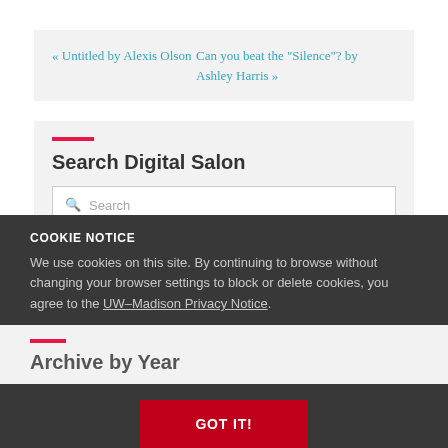« Untitled by Alexis Olson
Can you beat the “Silence”? by Ashley Harris »
Search Digital Salon
COOKIE NOTICE
We use cookies on this site. By continuing to browse without changing your browser settings to block or delete cookies, you agree to the UW–Madison Privacy Notice.
GOT IT!
Archive by Year